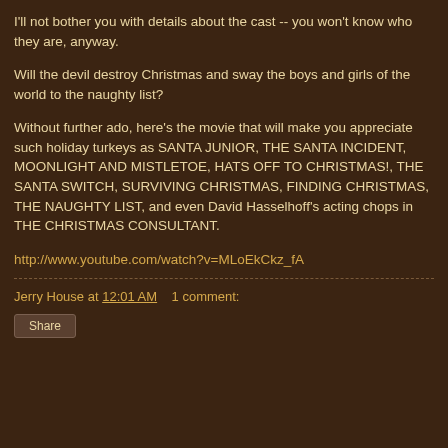I'll not bother you with details about the cast -- you won't know who they are, anyway.
Will the devil destroy Christmas and sway the boys and girls of the world to the naughty list?
Without further ado, here's the movie that will make you appreciate such holiday turkeys as SANTA JUNIOR, THE SANTA INCIDENT, MOONLIGHT AND MISTLETOE, HATS OFF TO CHRISTMAS!, THE SANTA SWITCH, SURVIVING CHRISTMAS, FINDING CHRISTMAS, THE NAUGHTY LIST, and even David Hasselhoff's acting chops in THE CHRISTMAS CONSULTANT.
http://www.youtube.com/watch?v=MLoEkCkz_fA
Jerry House at 12:01 AM    1 comment:
Share